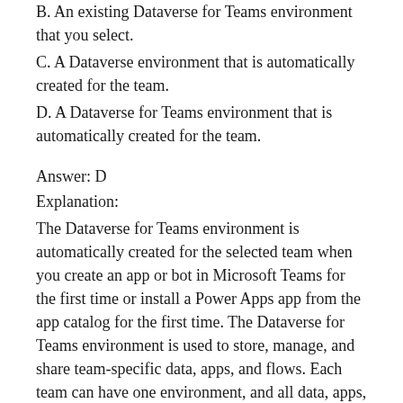B. An existing Dataverse for Teams environment that you select.
C. A Dataverse environment that is automatically created for the team.
D. A Dataverse for Teams environment that is automatically created for the team.
Answer: D
Explanation:
The Dataverse for Teams environment is automatically created for the selected team when you create an app or bot in Microsoft Teams for the first time or install a Power Apps app from the app catalog for the first time. The Dataverse for Teams environment is used to store, manage, and share team-specific data, apps, and flows. Each team can have one environment, and all data, apps, bots, and flows created with the Power Apps app inside a team are available from that team's Dataverse for Teams database.